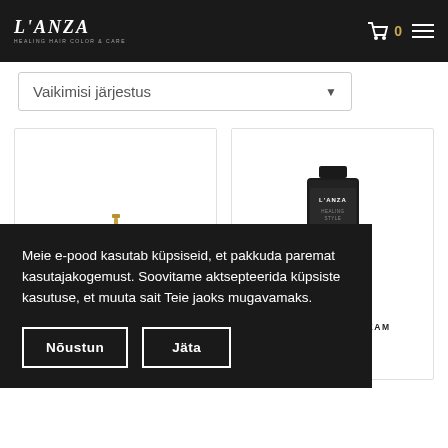L'ANZA HEALING HAIR COLOR & CARE
Vaikimisi järjestus
[Figure (photo): Product card showing a gold pump bottle - CREAM GEL]
[Figure (photo): Product card showing a black tube - L'ANZA Healing Style CURL DEFINE CREAM]
Meie e-pood kasutab küpsiseid, et pakkuda paremat kasutajakogemust. Soovitame aktsepteerida küpsiste kasutuse, et muuta sait Teie jaoks mugavamaks.
Nõustun
Jäta
CREAM GEL
CURL DEFINE CREAM